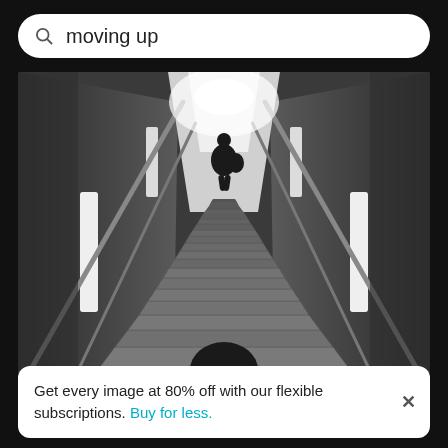moving up
[Figure (photo): Black and white photograph of a staircase viewed from below, with two people — one at the top walking away and one at the bottom whose head is visible. Dramatic lighting from strip lights on the walls.]
Get every image at 80% off with our flexible subscriptions. Buy for less.